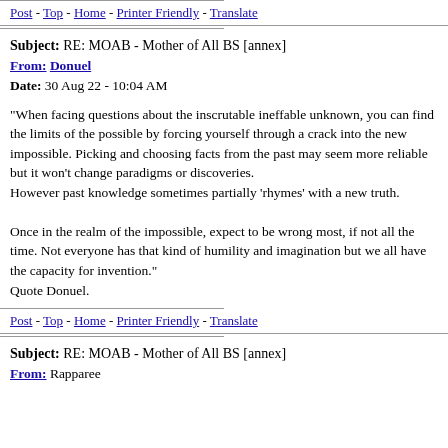Post - Top - Home - Printer Friendly - Translate
Subject: RE: MOAB - Mother of All BS [annex]
From: Donuel
Date: 30 Aug 22 - 10:04 AM
"When facing questions about the inscrutable ineffable unknown, you can find the limits of the possible by forcing yourself through a crack into the new impossible. Picking and choosing facts from the past may seem more reliable but it won't change paradigms or discoveries.
However past knowledge sometimes partially 'rhymes' with a new truth.

Once in the realm of the impossible, expect to be wrong most, if not all the time. Not everyone has that kind of humility and imagination but we all have the capacity for invention."
Quote Donuel.
Post - Top - Home - Printer Friendly - Translate
Subject: RE: MOAB - Mother of All BS [annex]
From: Rapparee